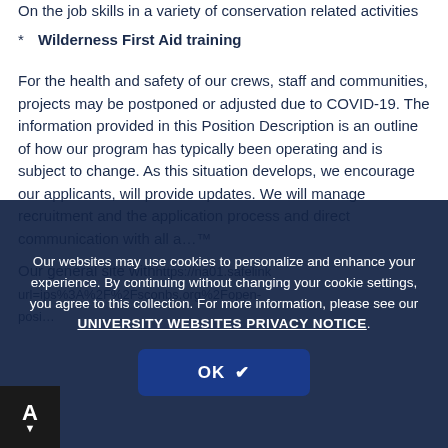On the job skills in a variety of conservation related activities
Wilderness First Aid training
For the health and safety of our crews, staff and communities, projects may be postponed or adjusted due to COVID-19. The information provided in this Position Description is an outline of how our program has typically been operating and is subject to change. As this situation develops, we encourage our applicants, will provide updates. We will manage recruitment and the application process and direct communication with all a…™
Our general site with…
https://na01.safelinks.protection.outlook.com/?url=https%3A%2F%2Fsconbs.org%2Fopen-positions&amp;data=04%7C01%7C…at=&amp;endanger=%40…nn.edu